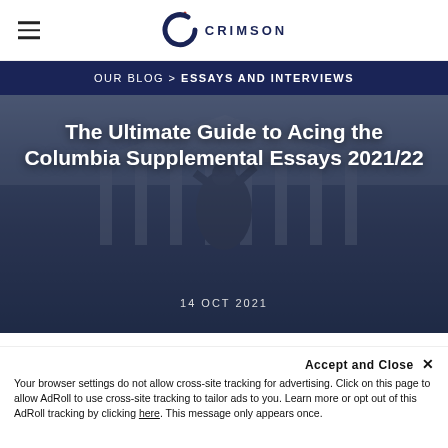☰  ✦C CRIMSON
OUR BLOG > ESSAYS AND INTERVIEWS
[Figure (photo): Photo of the Columbia University building with statue in foreground, dark blue overlay with white bold title text: The Ultimate Guide to Acing the Columbia Supplemental Essays 2021/22, and date 14 OCT 2021]
The Ultimate Guide to Acing the Columbia Supplemental Essays 2021/22
14 OCT 2021
Founded in 1754 as King's College, Columbia University is one of the top institutions in the world. Nine Supreme Court Justices, 45 Olympians, and five Founding Fathers
Accept and Close ✕
Your browser settings do not allow cross-site tracking for advertising. Click on this page to allow AdRoll to use cross-site tracking to tailor ads to you. Learn more or opt out of this AdRoll tracking by clicking here. This message only appears once.